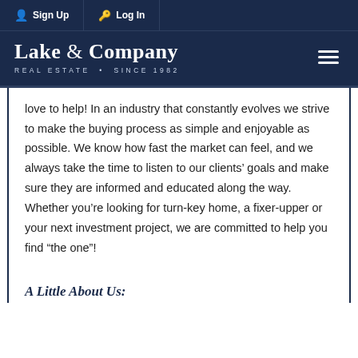Sign Up | Log In
[Figure (logo): Lake & Company Real Estate Since 1982 logo with hamburger menu icon]
love to help! In an industry that constantly evolves we strive to make the buying process as simple and enjoyable as possible. We know how fast the market can feel, and we always take the time to listen to our clients' goals and make sure they are informed and educated along the way. Whether you're looking for turn-key home, a fixer-upper or your next investment project, we are committed to help you find “the one”!
A Little About Us: